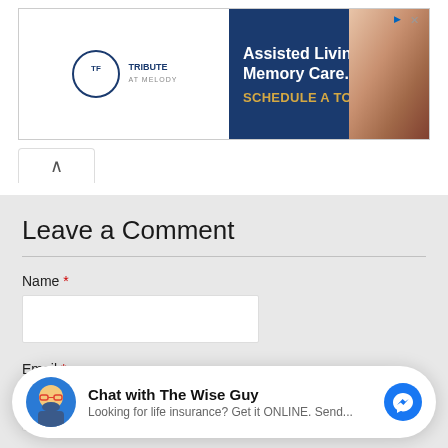[Figure (screenshot): Tribute at Melody assisted living advertisement banner with dark blue background, logo on left, text 'Assisted Living & Memory Care. SCHEDULE A TOUR ▶' and photo of elderly person on right]
Leave a Comment
Name *
Email *
[Figure (screenshot): Chat widget with 'Chat with The Wise Guy' title, avatar of bearded man with glasses, subtext 'Looking for life insurance? Get it ONLINE. Send...' and Messenger icon]